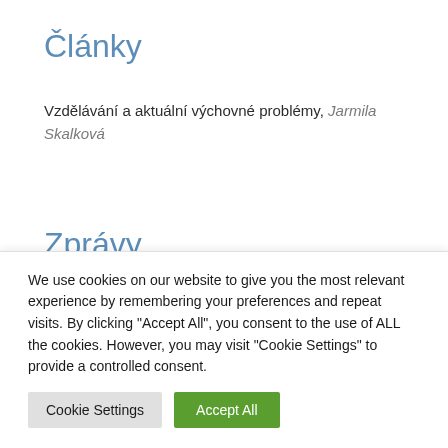Články
Vzdělávání a aktuální výchovné problémy, Jarmila Skalková
Zprávy
Ohlédnutí za XIV. ročníkem veletrhu Gaudeamus 2007, Lib...
We use cookies on our website to give you the most relevant experience by remembering your preferences and repeat visits. By clicking "Accept All", you consent to the use of ALL the cookies. However, you may visit "Cookie Settings" to provide a controlled consent.